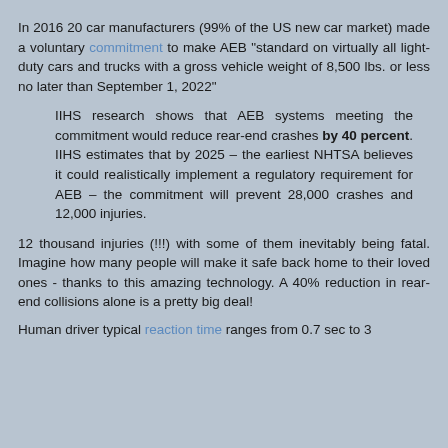In 2016 20 car manufacturers (99% of the US new car market) made a voluntary commitment to make AEB "standard on virtually all light-duty cars and trucks with a gross vehicle weight of 8,500 lbs. or less no later than September 1, 2022"
IIHS research shows that AEB systems meeting the commitment would reduce rear-end crashes by 40 percent. IIHS estimates that by 2025 – the earliest NHTSA believes it could realistically implement a regulatory requirement for AEB – the commitment will prevent 28,000 crashes and 12,000 injuries.
12 thousand injuries (!!!) with some of them inevitably being fatal. Imagine how many people will make it safe back home to their loved ones - thanks to this amazing technology. A 40% reduction in rear-end collisions alone is a pretty big deal!
Human driver typical reaction time ranges from 0.7 sec to 3